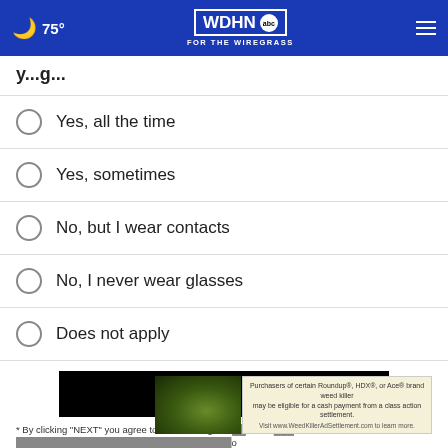75° WDHN ABC FOR THE WIREGRASS
y...g...
Yes, all the time
Yes, sometimes
No, but I wear contacts
No, I never wear glasses
Does not apply
NEXT *
* By clicking "NEXT" you agree to the following: We use cookies... CivicScience Privacy Policy and Terms of Service